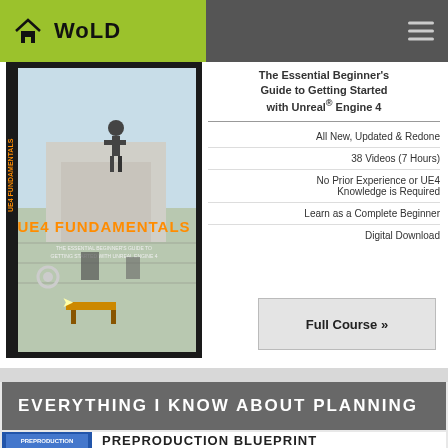WoLD
[Figure (photo): UE4 Fundamentals book cover - The Essential Beginner's Guide to Getting Started with Unreal Engine 4, showing a 3D scene with a character on a platform]
The Essential Beginner's Guide to Getting Started with Unreal® Engine 4
All New, Updated & Redone
38 Videos (7 Hours)
No Prior Experience or UE4 Knowledge is Required
Learn as a Complete Beginner
Digital Download
Full Course »
EVERYTHING I KNOW ABOUT PLANNING
[Figure (photo): Preproduction Blueprint book cover - blue book with architectural/planning imagery]
PREPRODUCTION BLUEPRINT